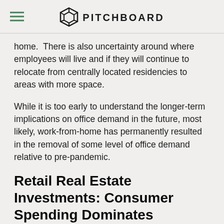PITCHBOARD
home.  There is also uncertainty around where employees will live and if they will continue to relocate from centrally located residencies to areas with more space.
While it is too early to understand the longer-term implications on office demand in the future, most likely, work-from-home has permanently resulted in the removal of some level of office demand relative to pre-pandemic.
Retail Real Estate Investments: Consumer Spending Dominates